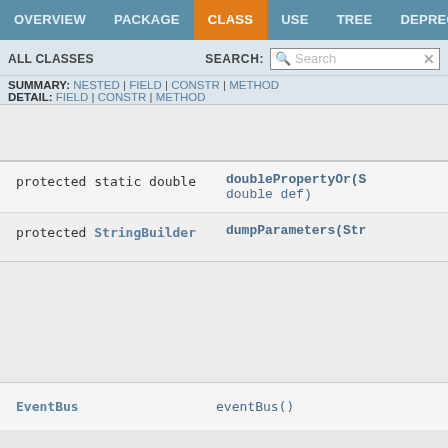OVERVIEW | PACKAGE | CLASS | USE | TREE | DEPRECATED
ALL CLASSES   SEARCH:
SUMMARY: NESTED | FIELD | CONSTR | METHOD
DETAIL: FIELD | CONSTR | METHOD
| Type | Method |
| --- | --- |
| protected static double | doublePropertyOr(S
double def) |
| protected StringBuilder | dumpParameters(Str |
| Type | Method |
| --- | --- |
| EventBus | eventBus() |